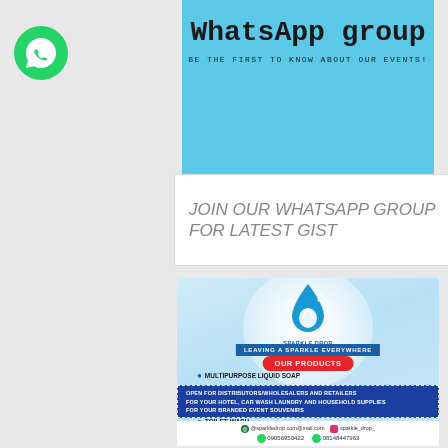[Figure (illustration): WhatsApp group promotional banner with WhatsApp logo on left and text 'WhatsApp group' with subtitle 'BE THE FIRST TO KNOW ABOUT OUR EVENTS!' on light blue background]
JOIN OUR WHATSAPP GROUP FOR LATEST GIST
[Figure (infographic): Sparkle Drop product advertisement. Shows logo (water drop with hand and sparkles), tagline 'LEAVING A SPARKLE EVERYWHERE', 'OUR PRODUCTS' button in red. Products listed: MULTIPURPOSE LIQUID SOAP, AIR FRESHENER, SPRAY STARCH, ANTISEPTIC DISINFECTANT, TOILET WASH, IZAL, FUMIGATION CHEMICALS. Footer: OPEN FOR DISTRIBUTORS/WHOLESALERS AND RETAILERS, FOR YOUR HOTEL, CAR WASH LAUNDRY AND HOUSEHOLD SUPPLIES, FOR YOUR BRANDED EVENT SOUVENIRS. Contact: @sparkledrop.com@mail.com, sparkle_drop_, 09056950422, 08148447963]